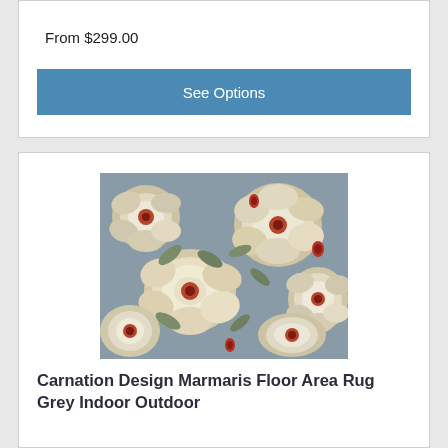From $299.00
See Options
[Figure (photo): Floral area rug with carnation/peony design on grey background, with cream white large flowers and red accents]
Carnation Design Marmaris Floor Area Rug Grey Indoor Outdoor